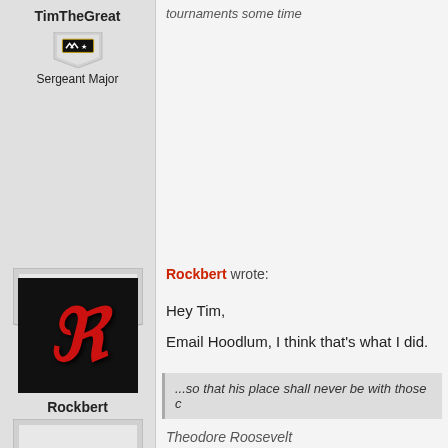tournaments some time
TimTheGreat
Sergeant Major
Rockbert wrote:
Hey Tim,

Email Hoodlum, I think that's what I did.
...so that his place shall never be with those c
Theodore Roosevelt
Rockbert
Command Sergeant
Rockbert is online.
Blagoje_Jovovic wrote:
Tim do bot worry all players will get their s
"Vital lives are about action. You can't feel warm